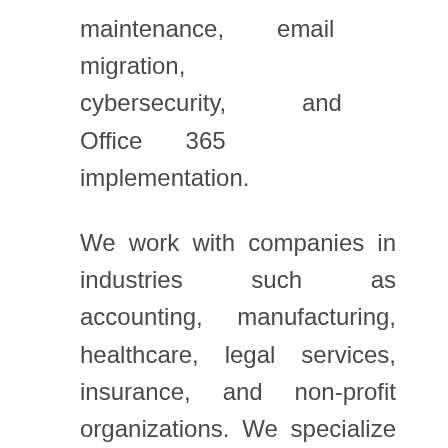maintenance, email migration, cybersecurity, and Office 365 implementation.
We work with companies in industries such as accounting, manufacturing, healthcare, legal services, insurance, and non-profit organizations. We specialize as a managed IT service provider. By this, we detect and prevent network problems before they affect your business. This reduces costs and prevents harmful network breaches. Employee downtime is significantly reduced as an IT expert is ready to handle any problems or technology. Our